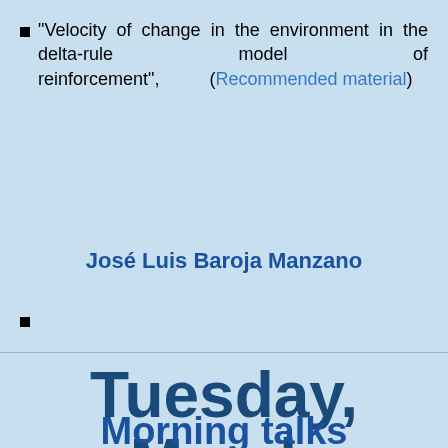"Velocity of change in the environment in the delta-rule model of reinforcement", (Recommended material)
José Luis Baroja Manzano
Tuesday, March 26
Morning talks